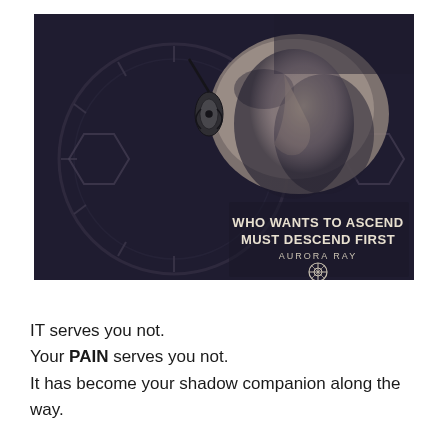[Figure (illustration): Dark atmospheric image of a close-up face (side profile, nose and lips visible) with a decorative clock and ornamental design overlaid. Text on image reads: 'WHO WANTS TO ASCEND MUST DESCEND FIRST' with attribution 'AURORA RAY' and a compass/wheel symbol.]
IT serves you not.
Your PAIN serves you not.
It has become your shadow companion along the way.